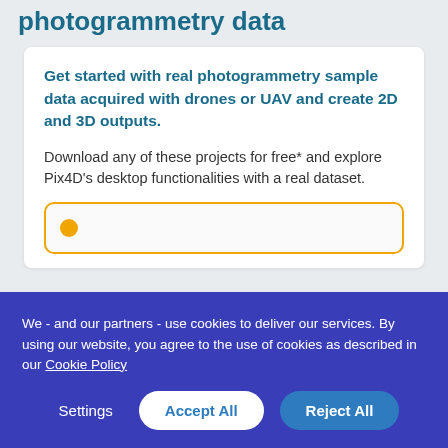photogrammetry data
Get started with real photogrammetry sample data acquired with drones or UAV and create 2D and 3D outputs.
Download any of these projects for free* and explore Pix4D's desktop functionalities with a real dataset.
We - and our partners - use cookies to deliver our services. By using our website, you agree to the use of cookies as described in our Cookie Policy
Settings | Accept All | Reject All